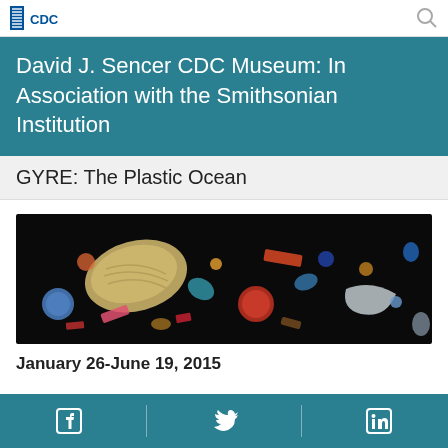[Figure (logo): CDC logo with blue striped design in top left corner]
David J. Sencer CDC Museum: In Association with the Smithsonian Institution
GYRE: The Plastic Ocean
[Figure (photo): Close-up photograph of colorful plastic debris and microplastics mixed with dark sand/gravel on a black background]
January 26-June 19, 2015
[Figure (infographic): Footer with Facebook, Twitter, and LinkedIn social media icons on teal background]